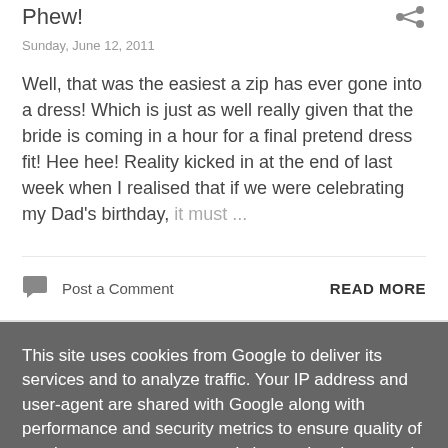Phew!
Sunday, June 12, 2011
Well, that was the easiest a zip has ever gone into a dress! Which is just as well really given that the bride is coming in a hour for a final pretend dress fit! Hee hee! Reality kicked in at the end of last week when I realised that if we were celebrating my Dad's birthday, it must ...
Post a Comment
READ MORE
This site uses cookies from Google to deliver its services and to analyze traffic. Your IP address and user-agent are shared with Google along with performance and security metrics to ensure quality of service, generate usage statistics, and to detect and address abuse.
LEARN MORE   OK